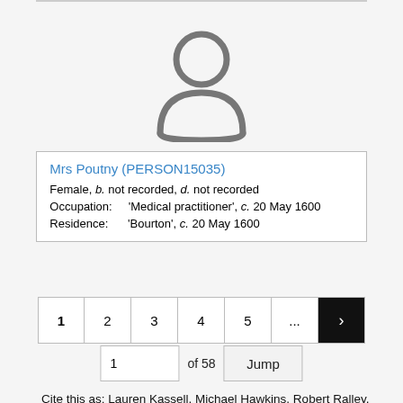[Figure (illustration): Generic person silhouette icon in grey]
Mrs Poutny (PERSON15035)
Female, b. not recorded, d. not recorded
Occupation: 'Medical practitioner', c. 20 May 1600
Residence: 'Bourton', c. 20 May 1600
1 2 3 4 5 ... >
1 of 58 Jump
Cite this as: Lauren Kassell, Michael Hawkins, Robert Ralley, John Young, Joanne Edge, Janet Yvonne Martin-